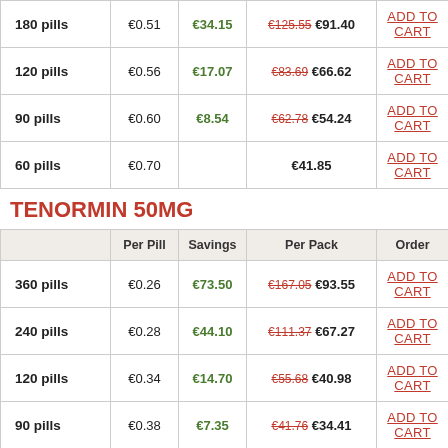|  | Per Pill | Savings | Per Pack | Order |
| --- | --- | --- | --- | --- |
| 180 pills | €0.51 | €34.15 | €125.55 €91.40 | ADD TO CART |
| 120 pills | €0.56 | €17.07 | €83.69 €66.62 | ADD TO CART |
| 90 pills | €0.60 | €8.54 | €62.78 €54.24 | ADD TO CART |
| 60 pills | €0.70 |  | €41.85 | ADD TO CART |
TENORMIN 50MG
|  | Per Pill | Savings | Per Pack | Order |
| --- | --- | --- | --- | --- |
| 360 pills | €0.26 | €73.50 | €167.05 €93.55 | ADD TO CART |
| 240 pills | €0.28 | €44.10 | €111.37 €67.27 | ADD TO CART |
| 120 pills | €0.34 | €14.70 | €55.68 €40.98 | ADD TO CART |
| 90 pills | €0.38 | €7.35 | €41.76 €34.41 | ADD TO CART |